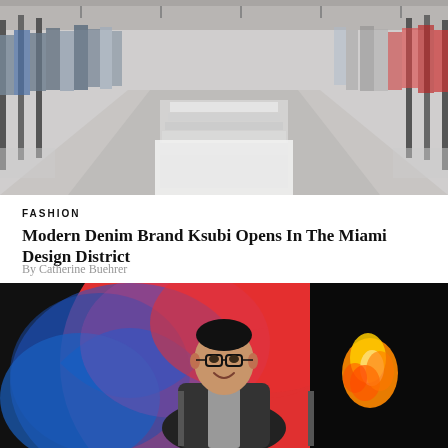[Figure (photo): Interior of a modern retail clothing store showing rows of garments hanging on racks, with a minimalist white aesthetic and a central display counter with glass panels, viewed in perspective down the center aisle.]
FASHION
Modern Denim Brand Ksubi Opens In The Miami Design District
By Catherine Buehrer
[Figure (photo): A smiling man wearing glasses and a dark jacket stands in front of a large colorful background featuring bold red and blue circular shapes (resembling the Korean flag yin-yang design), with a bright flame visible in the dark right portion of the image.]